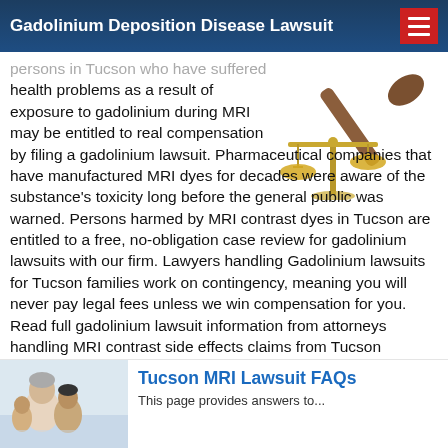Gadolinium Deposition Disease Lawsuit
persons in Tucson who have suffered health problems as a result of exposure to gadolinium during MRI may be entitled to real compensation by filing a gadolinium lawsuit. Pharmaceutical companies that have manufactured MRI dyes for decades were aware of the substance's toxicity long before the general public was warned. Persons harmed by MRI contrast dyes in Tucson are entitled to a free, no-obligation case review for gadolinium lawsuits with our firm. Lawyers handling Gadolinium lawsuits for Tucson families work on contingency, meaning you will never pay legal fees unless we win compensation for you. Read full gadolinium lawsuit information from attorneys handling MRI contrast side effects claims from Tucson plaintiffs.
[Figure (illustration): Gold scales of justice with a gavel on a white background]
[Figure (photo): Photo of people, appears to show an older person with others, partial view at bottom left]
Tucson MRI Lawsuit FAQs
This page provides answers to...